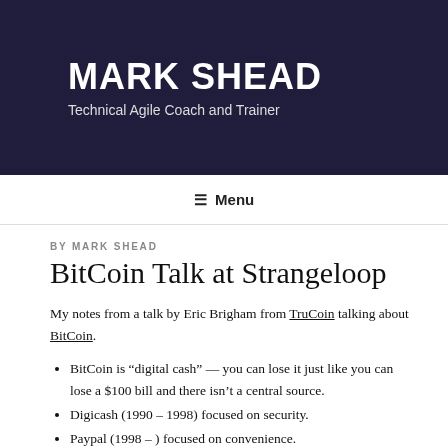MARK SHEAD
Technical Agile Coach and Trainer
≡ Menu
BY MARK SHEAD
BitCoin Talk at Strangeloop
My notes from a talk by Eric Brigham from TruCoin talking about BitCoin.
BitCoin is "digital cash" — you can lose it just like you can lose a $100 bill and there isn't a central source.
Digicash (1990 – 1998) focused on security.
Paypal (1998 – ) focused on convenience.
Both required centralize servers to solve double